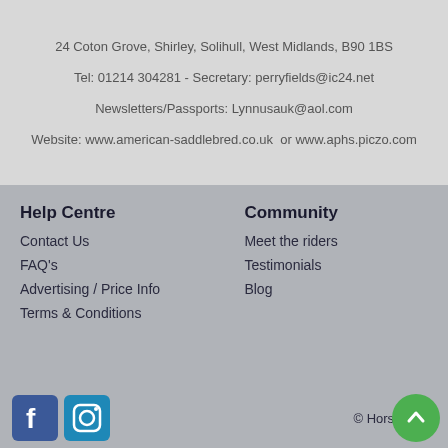24 Coton Grove, Shirley, Solihull, West Midlands, B90 1BS
Tel: 01214 304281 - Secretary: perryfields@ic24.net
Newsletters/Passports: Lynnusauk@aol.com
Website: www.american-saddlebred.co.uk  or www.aphs.piczo.com
Help Centre
Contact Us
FAQ's
Advertising / Price Info
Terms & Conditions
Community
Meet the riders
Testimonials
Blog
© HorseQuest